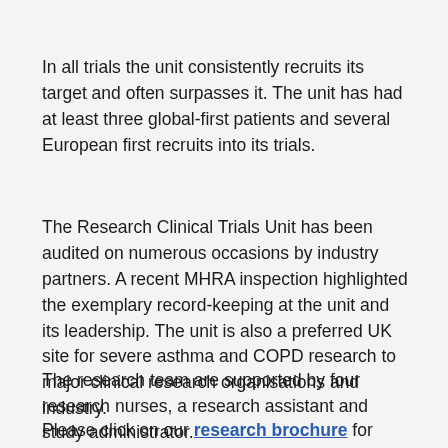In all trials the unit consistently recruits its target and often surpasses it. The unit has had at least three global-first patients and several European first recruits into its trials.
The Research Clinical Trials Unit has been audited on numerous occasions by industry partners. A recent MHRA inspection highlighted the exemplary record-keeping at the unit and its leadership. The unit is also a preferred UK site for severe asthma and COPD research to major clinical research organisations and industry.
The research team are supported by four research nurses, a research assistant and study administrator.
Please click on our research brochure for more